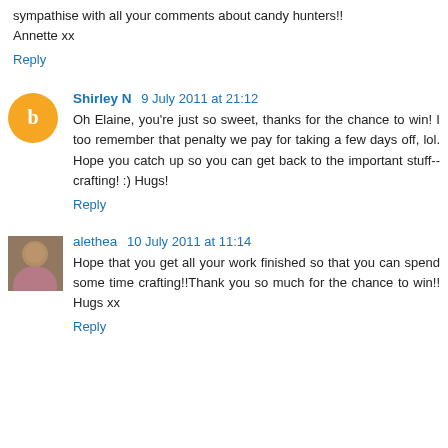sympathise with all your comments about candy hunters!! Annette xx
Reply
Shirley N 9 July 2011 at 21:12
Oh Elaine, you're just so sweet, thanks for the chance to win! I too remember that penalty we pay for taking a few days off, lol. Hope you catch up so you can get back to the important stuff--crafting! :) Hugs!
Reply
alethea 10 July 2011 at 11:14
Hope that you get all your work finished so that you can spend some time crafting!!Thank you so much for the chance to win!! Hugs xx
Reply